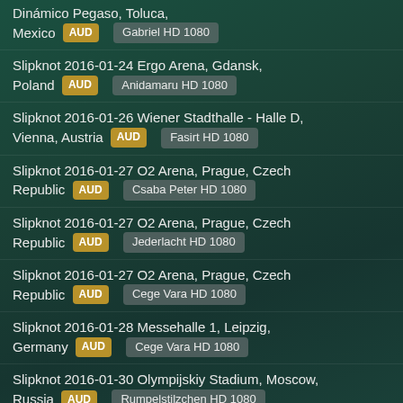Dinámico Pegaso, Toluca, Mexico AUD Gabriel HD 1080
Slipknot 2016-01-24 Ergo Arena, Gdansk, Poland AUD Anidamaru HD 1080
Slipknot 2016-01-26 Wiener Stadthalle - Halle D, Vienna, Austria AUD Fasirt HD 1080
Slipknot 2016-01-27 O2 Arena, Prague, Czech Republic AUD Csaba Peter HD 1080
Slipknot 2016-01-27 O2 Arena, Prague, Czech Republic AUD Jederlacht HD 1080
Slipknot 2016-01-27 O2 Arena, Prague, Czech Republic AUD Cege Vara HD 1080
Slipknot 2016-01-28 Messehalle 1, Leipzig, Germany AUD Cege Vara HD 1080
Slipknot 2016-01-30 Olympijskiy Stadium, Moscow, Russia AUD Rumpelstilzchen HD 1080
Slipknot 2016-01-30 Olympijskiy Stadium, Moscow,